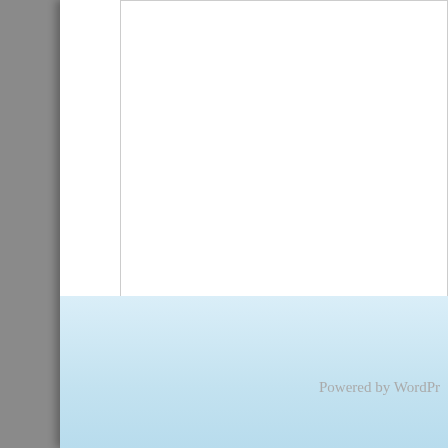[Figure (screenshot): Partial view of a WordPress comment form showing a textarea at the top, a Submit Comment button, a CAPTCHA math question 'four + 5 =' with an input box, and a light blue footer bar with 'Powered by WordPr...' text.]
Submit Comment
four + 5 =
Powered by WordPr